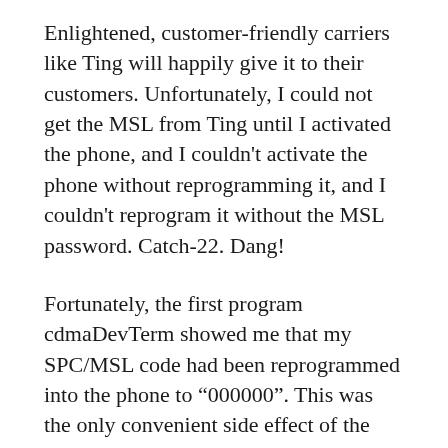Enlightened, customer-friendly carriers like Ting will happily give it to their customers. Unfortunately, I could not get the MSL from Ting until I activated the phone, and I couldn't activate the phone without reprogramming it, and I couldn't reprogram it without the MSL password. Catch-22. Dang!
Fortunately, the first program cdmaDevTerm showed me that my SPC/MSL code had been reprogrammed into the phone to “000000”. This was the only convenient side effect of the earlier owner’s reprogramming. Apparently changing the SPC/MSL code to all zeroes is a common part of making these changes, which makes sense in retrospect. cdmaDevTerm tried